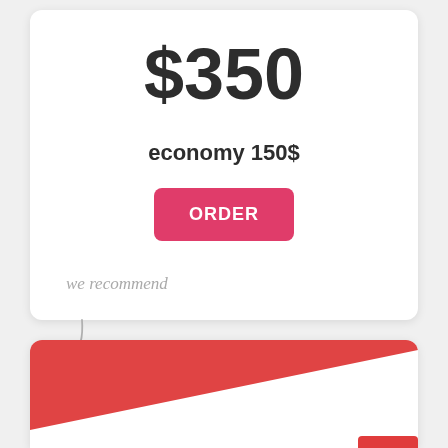$350
economy 150$
ORDER
we recommend
0 introductions
$500